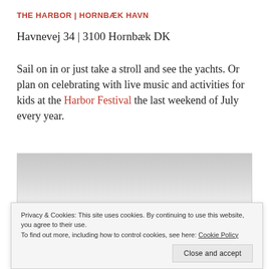THE HARBOR | HORNBÆK HAVN
Havnevej 34 | 3100 Hornbæk DK
Sail on in or just take a stroll and see the yachts. Or plan on celebrating with live music and activities for kids at the Harbor Festival the last weekend of July every year.
[Figure (photo): Photograph of a harbor scene showing sky and boat masts at Hornbæk Havn]
Privacy & Cookies: This site uses cookies. By continuing to use this website, you agree to their use. To find out more, including how to control cookies, see here: Cookie Policy
Close and accept